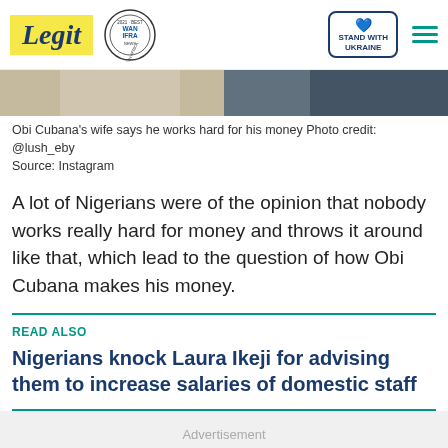Legit | WAN IFRA 2021 Best News Website in Africa | Stand with Ukraine
[Figure (photo): Cropped photo showing two people, partial torsos visible - one in white clothing, one in navy blue clothing]
Obi Cubana's wife says he works hard for his money Photo credit: @lush_eby
Source: Instagram
A lot of Nigerians were of the opinion that nobody works really hard for money and throws it around like that, which lead to the question of how Obi Cubana makes his money.
READ ALSO
Nigerians knock Laura Ikeji for advising them to increase salaries of domestic staff
Advertisement